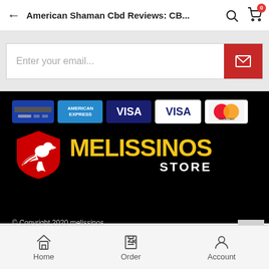American Shaman Cbd Reviews: CB...
Enter your email...
[Figure (logo): Payment method icons: credit card, American Express, Visa, Visa, MasterCard]
[Figure (logo): Melissinos Store logo: red shield with eagle and yellow MELISSINOS STORE text on black background]
© Copyright 2020 melissinos.
Κατασκευή e-shop  Hit-media.
Home  Order  Account